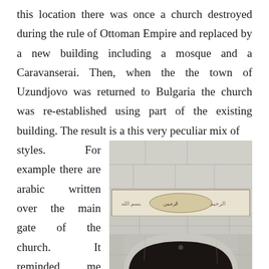this location there was once a church destroyed during the rule of Ottoman Empire and replaced by a new building including a mosque and a Caravanserai. Then, when the the town of Uzundjovo was returned to Bulgaria the church was re-established using part of the existing building. The result is a this very peculiar mix of styles. For example there are arabic written over the main gate of the church. It reminded me another quite curious building I've see in Karakol, Kirghizystan, few years ago. That one was a mosque built with the style of a buddhist temple belonging to Dungan people (Chinese Muslims living in former Soviet Union). Outside the church is
[Figure (photo): Close-up photograph of the main gate of a church showing stone archway with Arabic inscriptions carved in a horizontal band above a rounded arch entrance. The stonework appears light grey/marble-like.]